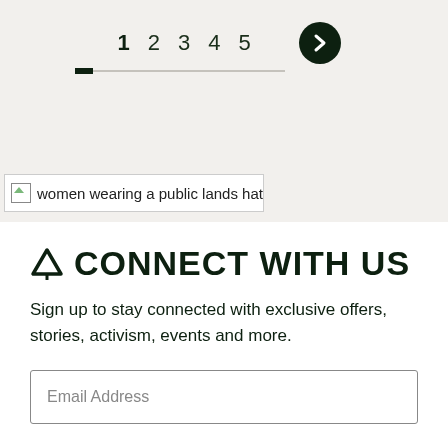1  2  3  4  5  >
[Figure (photo): women wearing a public lands hat — broken image placeholder]
CONNECT WITH US
Sign up to stay connected with exclusive offers, stories, activism, events and more.
Email Address